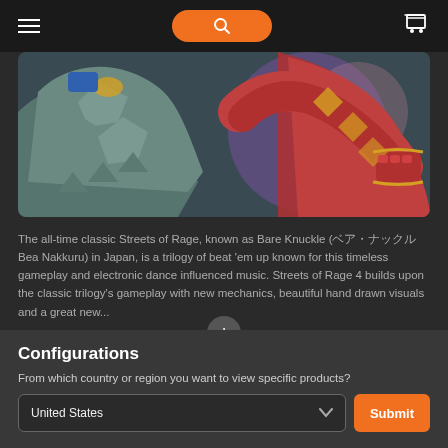Navigation bar with hamburger menu, search button, and cart icon
[Figure (illustration): Game art for Streets of Rage 4 / Bare Knuckle IV showing animated fighting game characters in hand-drawn style with one character in teal/green armor and another in red armor against a purple background]
The all-time classic Streets of Rage, known as Bare Knuckle (ベア・ナックル Bea Nakkuru) in Japan, is a trilogy of beat 'em up known for this timeless gameplay and electronic dance influenced music. Streets of Rage 4 builds upon the classic trilogy's gameplay with new mechanics, beautiful hand drawn visuals and a great new...
Configurations
From which country or region you want to view specific products?